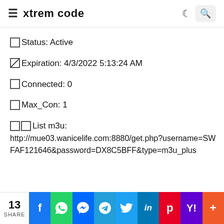xtrem code
🔲Status: Active
🔲Expiration: 4/3/2022 5:13:24 AM
🔲Connected: 0
🔲Max_Con: 1
🔲🔲List m3u: http://mue03.wanicelife.com:8880/get.php?username=SWFAF121646&password=DX8C5BFF&type=m3u_plus
13 SHARE | Facebook | WhatsApp | Messenger | Telegram | Twitter | LinkedIn | Pinterest | Yahoo | More